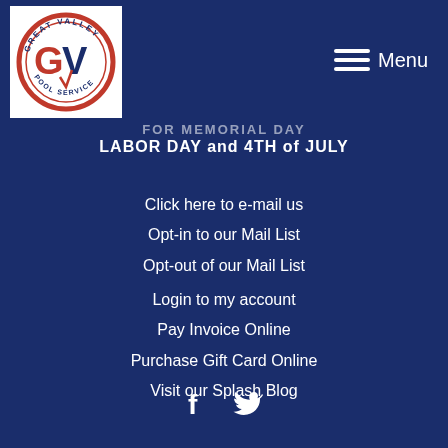[Figure (logo): Great Valley Pool Service circular logo with GV initials in red and blue]
Menu
for MEMORIAL DAY
LABOR DAY and 4TH of JULY
Click here to e-mail us
Opt-in to our Mail List
Opt-out of our Mail List
Login to my account
Pay Invoice Online
Purchase Gift Card Online
Visit our Splash Blog
[Figure (other): Facebook and Twitter social media icons in white]